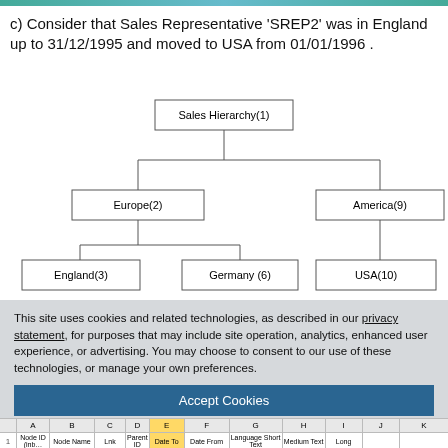c) Consider that Sales Representative 'SREP2' was in England up to 31/12/1995 and moved to USA from 01/01/1996 .
[Figure (organizational-chart): Organizational chart showing Sales Hierarchy(1) at top, branching to Europe(2) and America(9). Europe(2) branches to England(3) and Germany(6). America(9) branches to USA(10).]
This site uses cookies and related technologies, as described in our privacy statement, for purposes that may include site operation, analytics, enhanced user experience, or advertising. You may choose to consent to our use of these technologies, or manage your own preferences.
Accept Cookies
More Information
Privacy Policy | Powered by: TrustArc
|  | A | B | C | D | E | F | G | H | I | J | K |
| --- | --- | --- | --- | --- | --- | --- | --- | --- | --- | --- | --- |
| 1 | Node ID (inbound) | Node Name | Lnk | Parent ID | Date To | Date From | Language Short Text | Medium Text | Long |  |